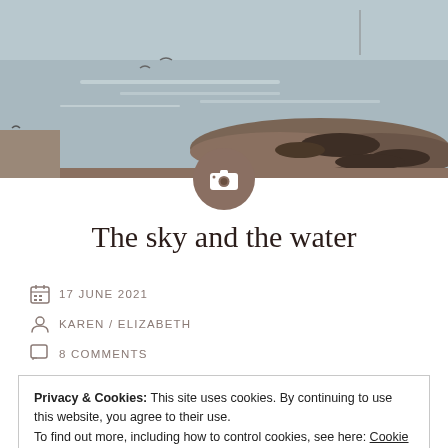[Figure (photo): A waterfront scene showing calm water, a rocky shoreline with mud and stones, and birds in flight. Muted tones of grey, blue and brown.]
The sky and the water
17 JUNE 2021
KAREN / ELIZABETH
8 COMMENTS
Privacy & Cookies: This site uses cookies. By continuing to use this website, you agree to their use.
To find out more, including how to control cookies, see here: Cookie Policy
Close and accept